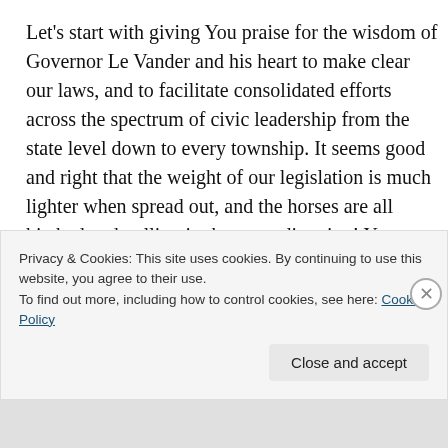Let's start with giving You praise for the wisdom of Governor Le Vander and his heart to make clear our laws, and to facilitate consolidated efforts across the spectrum of civic leadership from the state level down to every township. It seems good and right that the weight of our legislation is much lighter when spread out, and the horses are all hitched and pulling in the same direction! Your Word bears witness to this principle in many places, but this is the specific word I hear now.
“Two are better than one because they have a good return
Privacy & Cookies: This site uses cookies. By continuing to use this website, you agree to their use.
To find out more, including how to control cookies, see here: Cookie Policy